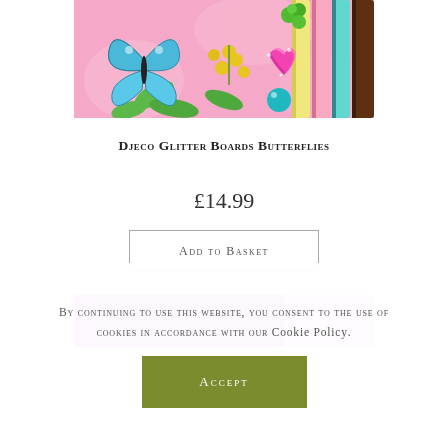[Figure (photo): Product image of Djeco Glitter Boards Butterflies — colorful craft set with butterfly, flowers, berries, glitter pens on pink background]
Djeco Glitter Boards Butterflies
£14.99
Add to basket
[Figure (photo): Partial view of another product image, purple and pink background visible at bottom]
By continuing to use this website, you consent to the use of cookies in accordance with our Cookie Policy.
Accept